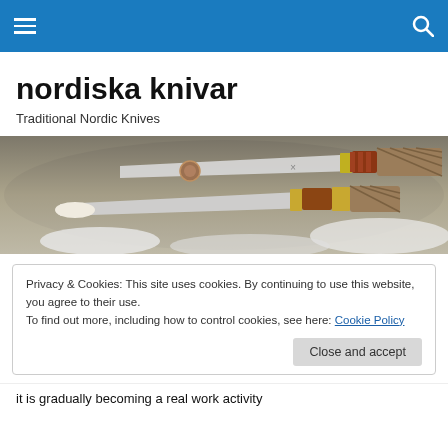nordiska knivar — navigation bar with hamburger menu and search icon
nordiska knivar
Traditional Nordic Knives
[Figure (photo): Close-up photo of two traditional Nordic knives with ornate handles featuring woven/braided patterns, wood and bone components, resting on a stone surface with snow]
Privacy & Cookies: This site uses cookies. By continuing to use this website, you agree to their use.
To find out more, including how to control cookies, see here: Cookie Policy
[Close and accept button]
it is gradually becoming a real work activity